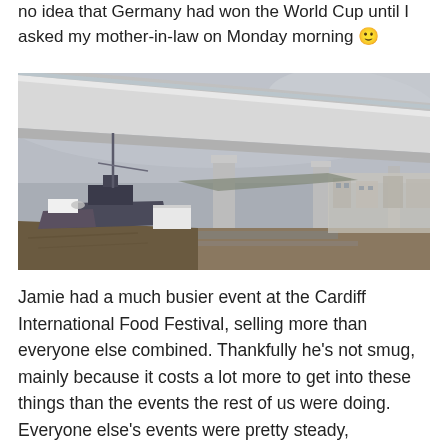no idea that Germany had won the World Cup until I asked my mother-in-law on Monday morning 🙂
[Figure (photo): Photograph taken from under a modern concrete bridge, looking along its underside toward the horizon. Below the bridge is a tidal estuary at low water with mud flats, moored boats and fishing vessels to the left, and a town with buildings visible in the background under an overcast grey sky.]
Jamie had a much busier event at the Cardiff International Food Festival, selling more than everyone else combined. Thankfully he's not smug, mainly because it costs a lot more to get into these things than the events the rest of us were doing.  Everyone else's events were pretty steady,